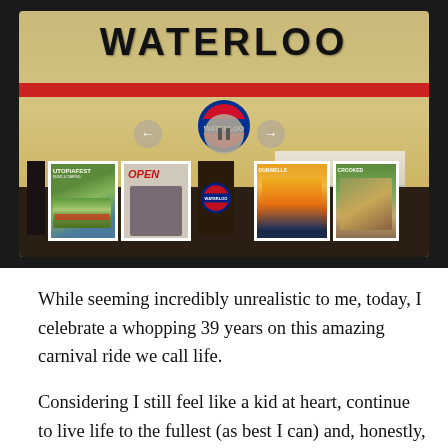[Figure (photo): A photograph of the exterior of Waterloo Records store. The building facade shows the 'WATERLOO' sign in large letters at the top, a red horizontal stripe, a London Underground-style circular logo, and storefront windows displaying various music event posters including 'Utopiafest', 'Open' sign, 'Dunwells', and 'Crooked' band posters. Navigation arrows and a pause button overlay the image.]
While seeming incredibly unrealistic to me, today, I celebrate a whopping 39 years on this amazing carnival ride we call life.
Considering I still feel like a kid at heart, continue to live life to the fullest (as best I can) and, honestly, have no